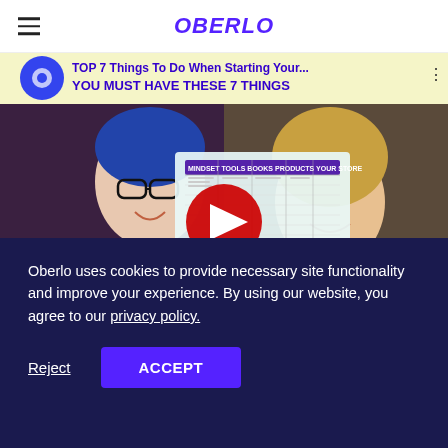OBERLO
[Figure (screenshot): YouTube video thumbnail showing two women on a video call, with overlay text 'TOP 7 Things To Do When Starting Your...' and 'YOU MUST HAVE THESE 7 THINGS'. A large red YouTube play button is centered. Bottom portion shows yellow background with 'REAL TALK' text and a small cartoon character.]
Oberlo uses cookies to provide necessary site functionality and improve your experience. By using our website, you agree to our privacy policy.
Reject   ACCEPT